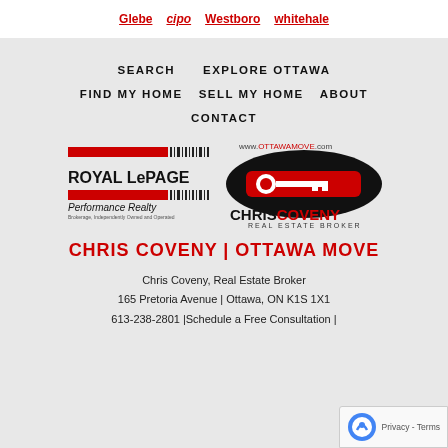Glebe  cipo  Westboro  whitehale
SEARCH
EXPLORE OTTAWA
FIND MY HOME
SELL MY HOME
ABOUT
CONTACT
[Figure (logo): Royal LePage Performance Realty logo]
[Figure (logo): Chris Coveny Real Estate Broker logo with www.ottawamove.com URL]
CHRIS COVENY | OTTAWA MOVE
Chris Coveny, Real Estate Broker
165 Pretoria Avenue | Ottawa, ON K1S 1X1
613-238-2801 |Schedule a Free Consultation |